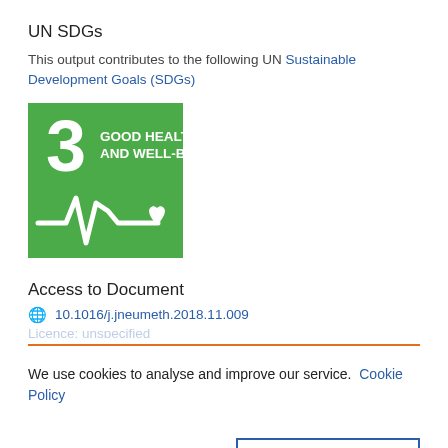UN SDGs
This output contributes to the following UN Sustainable Development Goals (SDGs)
[Figure (logo): UN SDG Goal 3: Good Health and Well-Being badge — green square with number 3, text 'GOOD HEALTH AND WELL-BEING', and a white heartbeat/ECG line with heart icon]
Access to Document
10.1016/j.jneumeth.2018.11.009
We use cookies to analyse and improve our service.  Cookie Policy
Cookies Settings
Accept All Cookies